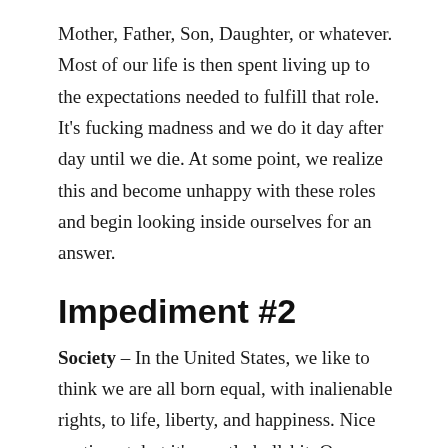Mother, Father, Son, Daughter, or whatever. Most of our life is then spent living up to the expectations needed to fulfill that role.  It's fucking madness and we do it day after day until we die. At some point, we realize this and become unhappy with these roles and begin looking inside ourselves for an answer.
Impediment #2
Society – In the United States, we like to think we are all born equal, with inalienable rights, to life, liberty, and happiness. Nice sentiment, but it's mostly bullshit. Our society like the societies in most countries tries to categorize us by political affiliations like left or right, black or white, male or female, rich or poor, and so on. As people, we begin associating our identity to these groupings. I can say I am a Democrat or a Republican and